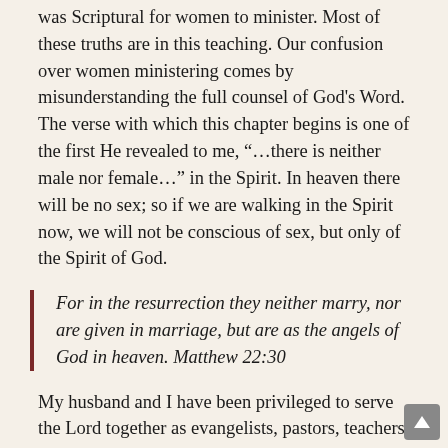was Scriptural for women to minister. Most of these truths are in this teaching. Our confusion over women ministering comes by misunderstanding the full counsel of God's Word. The verse with which this chapter begins is one of the first He revealed to me, “…there is neither male nor female…” in the Spirit. In heaven there will be no sex; so if we are walking in the Spirit now, we will not be conscious of sex, but only of the Spirit of God.
For in the resurrection they neither marry, nor are given in marriage, but are as the angels of God in heaven. Matthew 22:30
My husband and I have been privileged to serve the Lord together as evangelists, pastors, teachers and now pioneering this new work on the Internet. It’s rewarding to allow the Holy Spirit to minister through us as He sees fit. We only want to be those vessels who stand ready for the Master’s use. The Lord uses Bud to relate to many that I could not reach, and He uses me to minister to those that he could best reach. To the